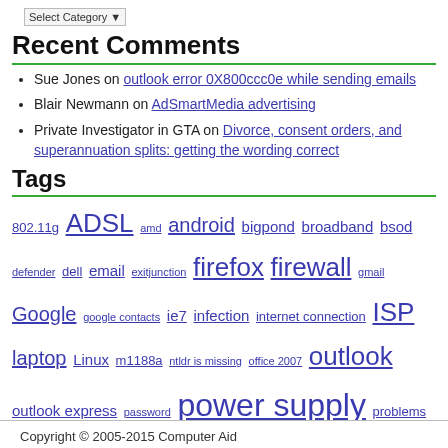Select Category
Recent Comments
Sue Jones on outlook error 0X800ccc0e while sending emails
Blair Newmann on AdSmartMedia advertising
Private Investigator in GTA on Divorce, consent orders, and superannuation splits: getting the wording correct
Tags
802.11g ADSL amd android bigpond broadband bsod defender dell email exitjunction firefox firewall gmail Google google contacts ie7 infection internet connection ISP laptop Linux m1188a ntldr is missing office 2007 outlook outlook express password power supply problems ram registry repair install sata scam slow telstra thunderbird usb vista wifi windows 7 wireless wordpress xp
Copyright © 2005-2015 Computer Aid